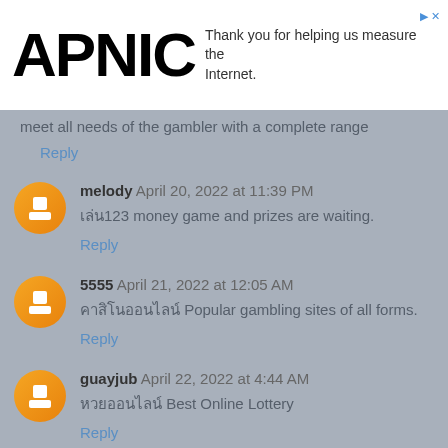APNIC — Thank you for helping us measure the Internet.
meet all needs of the gambler with a complete range
Reply
melody April 20, 2022 at 11:39 PM
เล่น123 money game and prizes are waiting.
Reply
5555 April 21, 2022 at 12:05 AM
คาสิโนออนไลน์ Popular gambling sites of all forms.
Reply
guayjub April 22, 2022 at 4:44 AM
หวยออนไลน์ Best Online Lottery
Reply